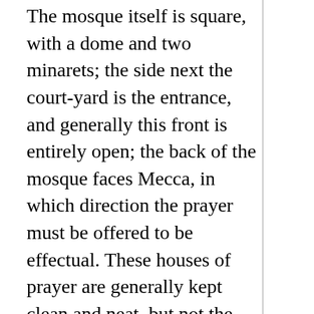The mosque itself is square, with a dome and two minarets; the side next the court-yard is the entrance, and generally this front is entirely open; the back of the mosque faces Mecca, in which direction the prayer must be offered to be effectual. These houses of prayer are generally kept clean and neat, but not the slightest ornament allowed within the walls; the floor is matted, and a plain wooden mhembur (pulpit) is provided. Shoes never enter within the precincts of the mosque; ‘Put off thy shoes’ is strictly observed by Mussulmauns in all sacred places–a man praying with